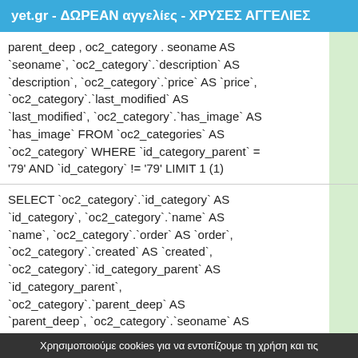yet.gr - ΔΩΡΕΑΝ αγγελίες - ΧΡΥΣΕΣ ΑΓΓΕΛΙΕΣ
parent_deep , oc2_category . seoname AS `seoname`, `oc2_category`.`description` AS `description`, `oc2_category`.`price` AS `price`, `oc2_category`.`last_modified` AS `last_modified`, `oc2_category`.`has_image` AS `has_image` FROM `oc2_categories` AS `oc2_category` WHERE `id_category_parent` = '79' AND `id_category` != '79' LIMIT 1 (1)
SELECT `oc2_category`.`id_category` AS `id_category`, `oc2_category`.`name` AS `name`, `oc2_category`.`order` AS `order`, `oc2_category`.`created` AS `created`, `oc2_category`.`id_category_parent` AS `id_category_parent`, `oc2_category`.`parent_deep` AS `parent_deep`, `oc2_category`.`seoname` AS
Χρησιμοποιούμε cookies για να εντοπίζουμε τη χρήση και τις